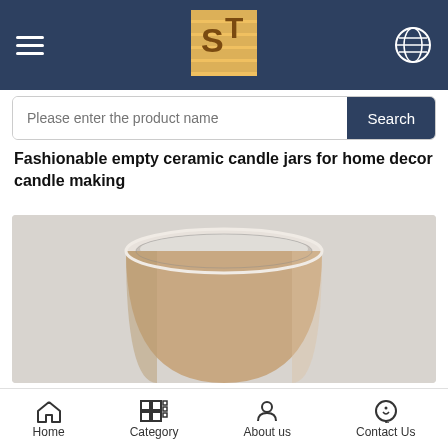[Figure (logo): Website header with hamburger menu, SF logo, and globe icon on dark navy background]
Please enter the product name
Fashionable empty ceramic candle jars for home decor candle making
[Figure (photo): Close-up photo of a sandy beige ceramic candle jar with white interior, viewed from slightly above, on a light gray background]
Home  Category  About us  Contact Us